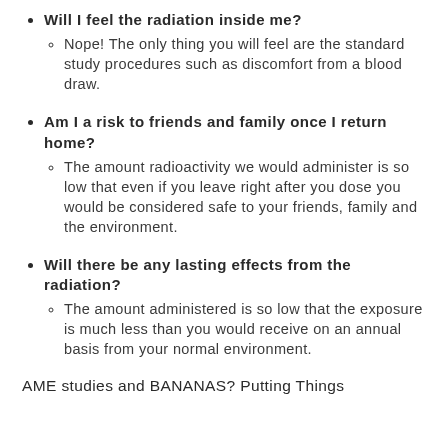Will I feel the radiation inside me? Nope! The only thing you will feel are the standard study procedures such as discomfort from a blood draw.
Am I a risk to friends and family once I return home? The amount radioactivity we would administer is so low that even if you leave right after you dose you would be considered safe to your friends, family and the environment.
Will there be any lasting effects from the radiation? The amount administered is so low that the exposure is much less than you would receive on an annual basis from your normal environment.
AME studies and BANANAS? Putting Things